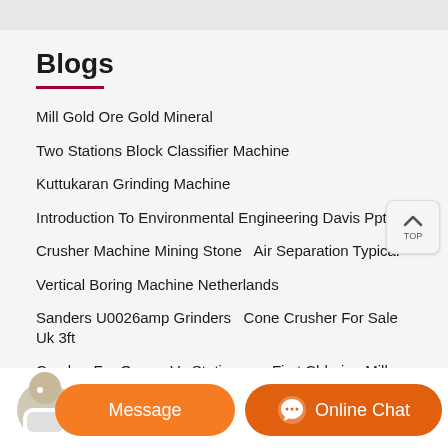Blogs
Mill Gold Ore Gold Mineral
Two Stations Block Classifier Machine
Kuttukaran Grinding Machine
Introduction To Environmental Engineering Davis Ppt
Crusher Machine Mining Stone   Air Separation Typical
Vertical Boring Machine Netherlands
Sanders U0026amp Grinders   Cone Crusher For Sale Uk 3ft
Crusher For Quarry Vs Stationary   First Chlorine Mill Gold